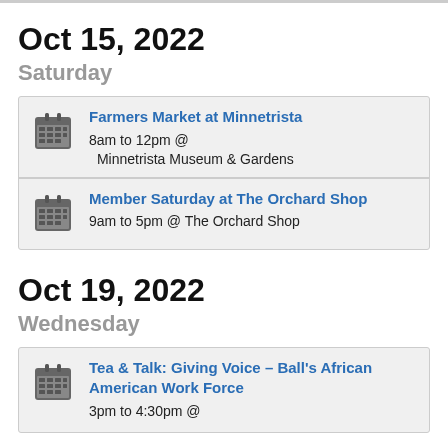Oct 15, 2022
Saturday
Farmers Market at Minnetrista
8am to 12pm @
 Minnetrista Museum & Gardens
Member Saturday at The Orchard Shop
9am to 5pm @ The Orchard Shop
Oct 19, 2022
Wednesday
Tea & Talk: Giving Voice – Ball's African American Work Force
3pm to 4:30pm @